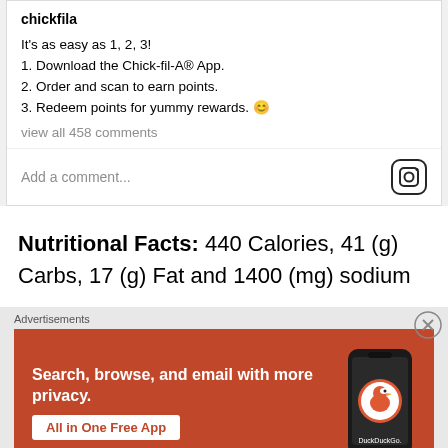chickfila
It's as easy as 1, 2, 3!
1. Download the Chick-fil-A® App.
2. Order and scan to earn points.
3. Redeem points for yummy rewards. 😊
view all 458 comments
Add a comment...
Nutritional Facts: 440 Calories, 41 (g) Carbs, 17 (g) Fat and 1400 (mg) sodium
Advertisements
[Figure (screenshot): DuckDuckGo advertisement banner with orange background showing 'Search, browse, and email with more privacy. All in One Free App' with phone mockup and DuckDuckGo logo]